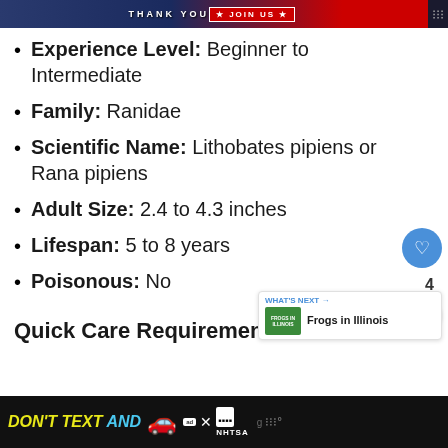[Figure (screenshot): Top banner ad with 'THANK YOU' text and 'JOIN US' button on dark blue background with American flag imagery]
Experience Level: Beginner to Intermediate
Family: Ranidae
Scientific Name: Lithobates pipiens or Rana pipiens
Adult Size: 2.4 to 4.3 inches
Lifespan: 5 to 8 years
Poisonous: No
Quick Care Requirements
[Figure (screenshot): Bottom banner ad: DON'T TEXT AND [drive] - NHTSA public safety advertisement with car emoji]